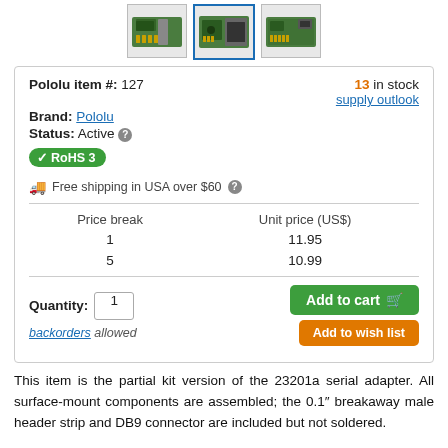[Figure (photo): Three thumbnail images of a serial adapter PCB product (green circuit boards with connectors) shown from different angles]
| Price break | Unit price (US$) |
| --- | --- |
| 1 | 11.95 |
| 5 | 10.99 |
Pololu item #: 127   13 in stock   Brand: Pololu   supply outlook   Status: Active   RoHS 3   Free shipping in USA over $60   Quantity: 1   Add to cart   Add to wish list   backorders allowed
This item is the partial kit version of the 23201a serial adapter. All surface-mount components are assembled; the 0.1″ breakaway male header strip and DB9 connector are included but not soldered.